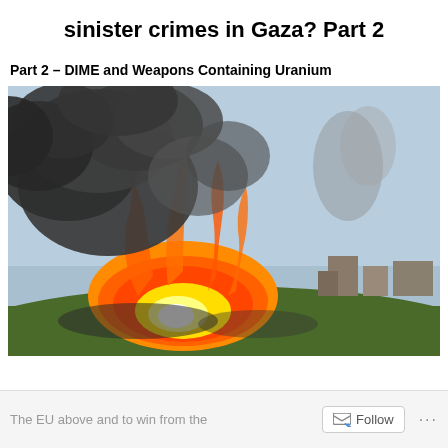sinister crimes in Gaza? Part 2
Part 2 – DIME and Weapons Containing Uranium
[Figure (photo): Aerial photograph of a large explosion with massive orange and yellow fireball and billowing dark smoke clouds over a city/urban area, with green fields and buildings visible in the background and to the right.]
The EU above and to win from the